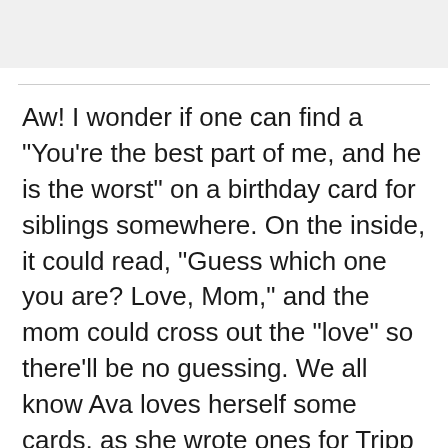[Figure (other): Gray header bar at top of page]
Aw! I wonder if one can find a "You're the best part of me, and he is the worst" on a birthday card for siblings somewhere. On the inside, it could read, "Guess which one you are? Love, Mom," and the mom could cross out the "love" so there'll be no guessing. We all know Ava loves herself some cards, as she wrote ones for Tripp each year, so I'll look in the gift shop for her after we're done Two Scooping.
Seriously, though, what happened to make Ava hate Charlie? Depending who you ask, she's not entirely a monster. She loves Tripp; has an unrequited, unhealthy passion for the